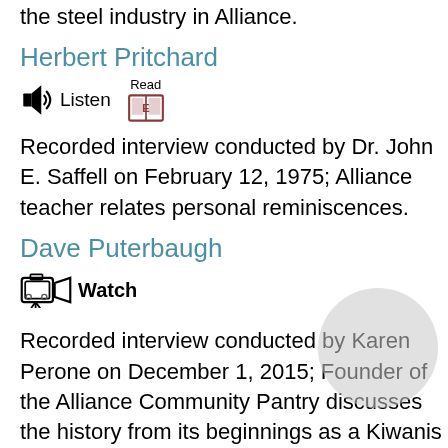the steel industry in Alliance.
Herbert Pritchard
[Figure (other): Listen icon (speaker with sound waves) and Read icon (book with E label) media controls]
Recorded interview conducted by Dr. John E. Saffell on February 12, 1975; Alliance teacher relates personal reminiscences.
Dave Puterbaugh
[Figure (other): Watch icon (video camera) media control]
Recorded interview conducted by Karen Perone on December 1, 2015; Founder of the Alliance Community Pantry discusses the history from its beginnings as a Kiwanis Club project to its recognition as a "Choice Pantry" on its fifth anniversary.